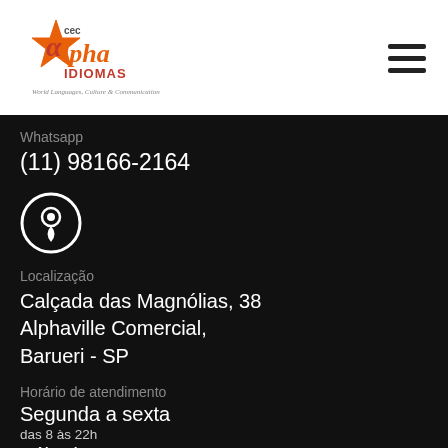[Figure (logo): CEC Alpha Idiomas logo with orange star and stylized lettering, tagline 'World Languages, Culture & Communication']
Whatsapp
(11) 98166-2164
[Figure (illustration): White location pin icon inside a white circle on black background]
Localização
Calçada das Magnólias, 38 Alphaville Comercial, Barueri - SP
Horário de atendimento
Segunda a sexta
das 8 às 22h
Sábado